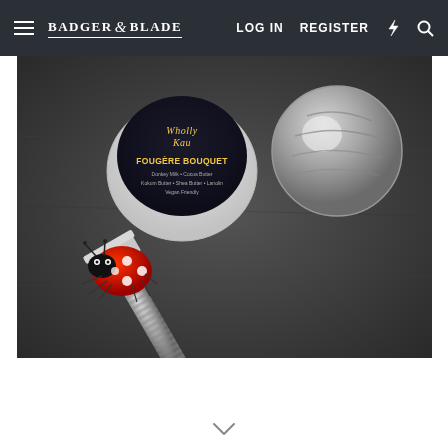Badger & Blade | LOG IN | REGISTER
[Figure (photo): Photo of wet shaving products on a dark stone surface: a Wholly Kaw 'Fougère Bouquet' shaving soap puck in a white container with dark lid, a chrome shaving brush handle, a chrome double-edge safety razor, and a decorative red ladybug figurine with white polka dots.]